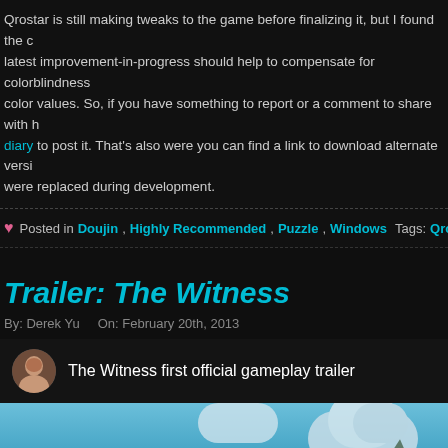Qrostar is still making tweaks to the game before finalizing it, but I found the c latest improvement-in-progress should help to compensate for colorblindness color values. So, if you have something to report or a comment to share with h diary to post it. That's also were you can find a link to download alternate versi were replaced during development.
Posted in Doujin, Highly Recommended, Puzzle, Windows Tags: Qrostar, Tatsunam
Trailer: The Witness
By: Derek Yu   On: February 20th, 2013
[Figure (screenshot): YouTube video embed showing 'The Witness first official gameplay trailer' with a circular avatar of a man, and a scenic landscape background with green trees, blue sky, clouds, mountains, and a red YouTube play button at the bottom center.]